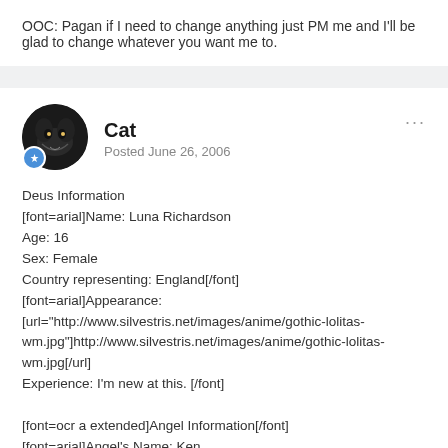OOC: Pagan if I need to change anything just PM me and I'll be glad to change whatever you want me to.
Cat
Posted June 26, 2006
Deus Information
[font=arial]Name: Luna Richardson
Age: 16
Sex: Female
Country representing: England[/font]
[font=arial]Appearance:
[url="http://www.silvestris.net/images/anime/gothic-lolitas-wm.jpg"]http://www.silvestris.net/images/anime/gothic-lolitas-wm.jpg[/url]
Experience: I'm new at this. [/font]

[font=ocr a extended]Angel Information[/font]
[font=arial]Angel's Name: Ken
Entry Phrase: Ken destroy them!